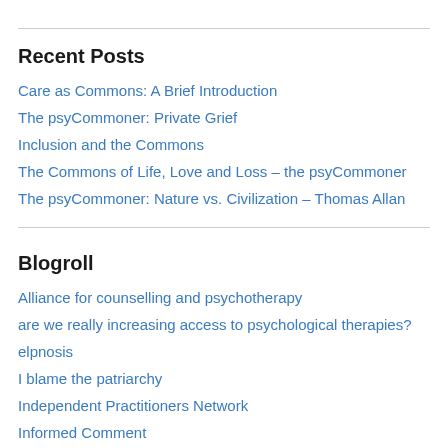Recent Posts
Care as Commons: A Brief Introduction
The psyCommoner: Private Grief
Inclusion and the Commons
The Commons of Life, Love and Loss – the psyCommoner
The psyCommoner: Nature vs. Civilization – Thomas Allan
Blogroll
Alliance for counselling and psychotherapy
are we really increasing access to psychological therapies?
elpnosis
I blame the patriarchy
Independent Practitioners Network
Informed Comment